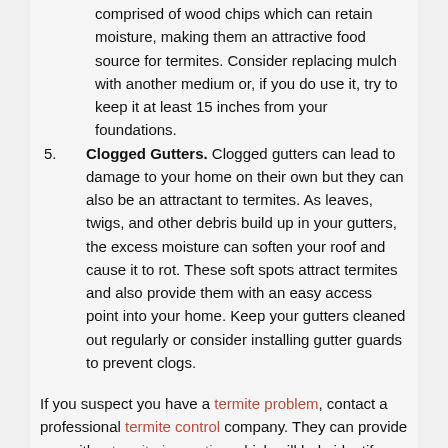comprised of wood chips which can retain moisture, making them an attractive food source for termites. Consider replacing mulch with another medium or, if you do use it, try to keep it at least 15 inches from your foundations.
5. Clogged Gutters. Clogged gutters can lead to damage to your home on their own but they can also be an attractant to termites. As leaves, twigs, and other debris build up in your gutters, the excess moisture can soften your roof and cause it to rot. These soft spots attract termites and also provide them with an easy access point into your home. Keep your gutters cleaned out regularly or consider installing gutter guards to prevent clogs.
If you suspect you have a termite problem, contact a professional termite control company. They can provide you with a termite inspection which will help identify any potential signs of termite infestation and